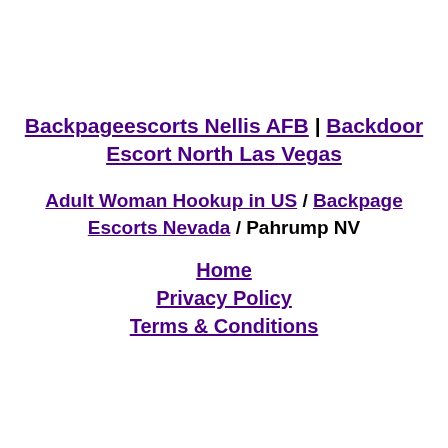Backpageescorts Nellis AFB | Backdoor Escort North Las Vegas
Adult Woman Hookup in US / Backpage Escorts Nevada / Pahrump NV
Home
Privacy Policy
Terms & Conditions